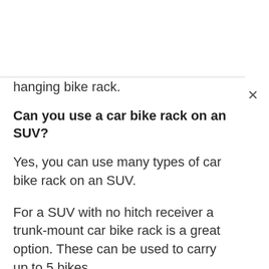hanging bike rack.
Can you use a car bike rack on an SUV?
Yes, you can use many types of car bike rack on an SUV.
For a SUV with no hitch receiver a trunk-mount car bike rack is a great option. These can be used to carry up to 5 bikes.
The best bike rack for a SUV with a hitch fitted is a platform or hanging hitch-mount rack, such as